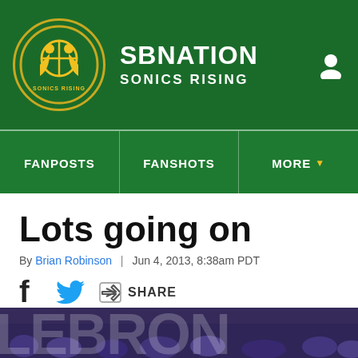SB NATION — SONICS RISING
FANPOSTS | FANSHOTS | MORE
Lots going on
By Brian Robinson | Jun 4, 2013, 8:38am PDT
[Figure (screenshot): Share bar with Facebook, Twitter, and share icons]
[Figure (photo): Crowd photo with large white text overlay reading 'LeBron' or similar, fans in purple jerseys visible in background]